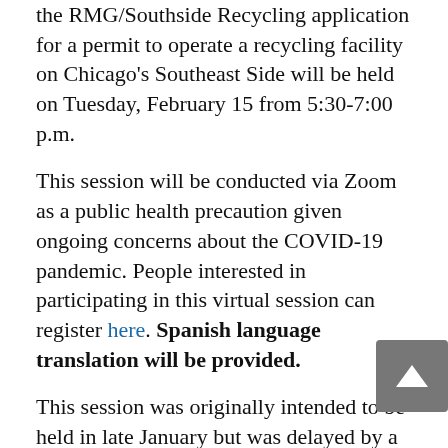the RMG/Southside Recycling application for a permit to operate a recycling facility on Chicago's Southeast Side will be held on Tuesday, February 15 from 5:30-7:00 p.m.
This session will be conducted via Zoom as a public health precaution given ongoing concerns about the COVID-19 pandemic. People interested in participating in this virtual session can register here. Spanish language translation will be provided.
This session was originally intended to be held in late January but was delayed by a COVID outbreak among the team assisting with on-site research and COVID-related lab slowdowns. The February 15 session was scheduled based on input from community members and stakeholders to avoid conflicts with other ev[ents] occurring on the same date and to ensure more [than] two weeks' advance notice to facilitate participation